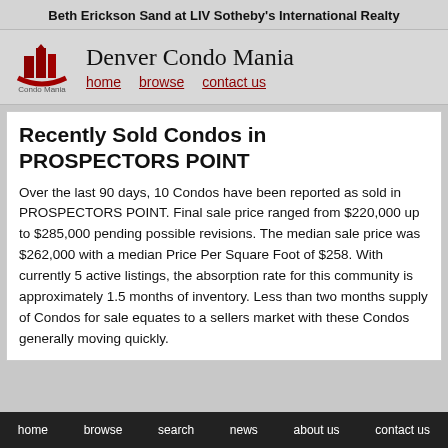Beth Erickson Sand at LIV Sotheby's International Realty
Denver Condo Mania
home   browse   contact us
Recently Sold Condos in PROSPECTORS POINT
Over the last 90 days, 10 Condos have been reported as sold in PROSPECTORS POINT. Final sale price ranged from $220,000 up to $285,000 pending possible revisions. The median sale price was $262,000 with a median Price Per Square Foot of $258. With currently 5 active listings, the absorption rate for this community is approximately 1.5 months of inventory. Less than two months supply of Condos for sale equates to a sellers market with these Condos generally moving quickly.
home   browse   search   news   about us   contact us